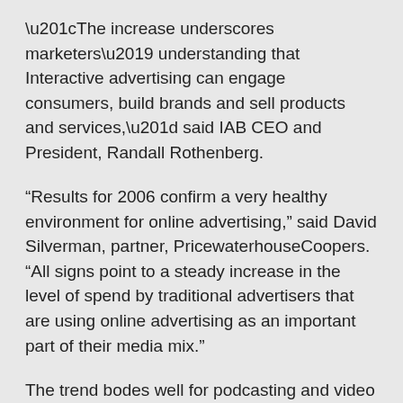“The increase underscores marketers’ understanding that Interactive advertising can engage consumers, build brands and sell products and services,” said IAB CEO and President, Randall Rothenberg.
“Results for 2006 confirm a very healthy environment for online advertising,” said David Silverman, partner, PricewaterhouseCoopers. “All signs point to a steady increase in the level of spend by traditional advertisers that are using online advertising as an important part of their media mix.”
The trend bodes well for podcasting and video podcasting. As more money and attention flow into Internet media, podcasters are getting a bigger and bigger slice of a growing market.
Internet media advertising is also shifting from